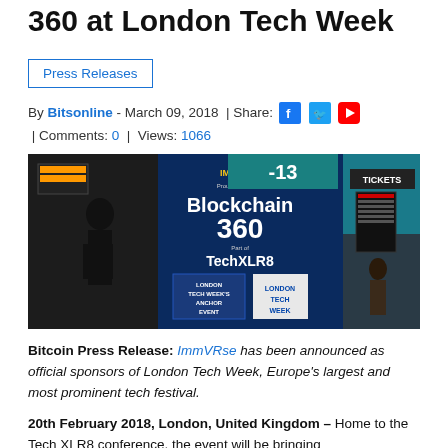360 at London Tech Week
Press Releases
By Bitsonline - March 09, 2018 | Share: [icons] | Comments: 0 | Views: 1066
[Figure (photo): Photo of an airport terminal with an ImmVRse Blockchain 360 advertisement banner at London Tech Week / TechXLR8 event. People walking in the background near a tickets booth.]
Bitcoin Press Release: ImmVRse has been announced as official sponsors of London Tech Week, Europe's largest and most prominent tech festival.
20th February 2018, London, United Kingdom – Home to the Tech XLR8 conference, the event will be bringing